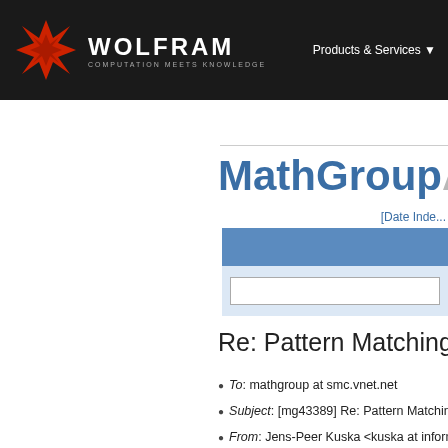WOLFRAM COMPUTATION MEETS KNOWLEDGE — Products & Services
[Figure (logo): Wolfram logo: red geometric snowflake/star icon with WOLFRAM in white bold text and tagline COMPUTATION MEETS KNOWLEDGE below, on dark background]
MathGroup Archive
[Date Inde...
Re: Pattern Matching
To: mathgroup at smc.vnet.net
Subject: [mg43389] Re: Pattern Matching R...
From: Jens-Peer Kuska <kuska at informati...